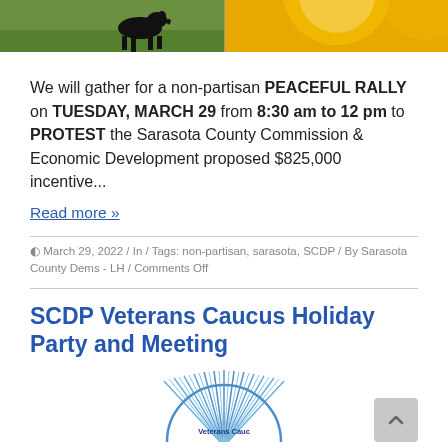[Figure (photo): Top portion showing two images side by side: left image has a black dog on green grass, right image has a yellow/gold background]
We will gather for a non-partisan PEACEFUL RALLY on TUESDAY, MARCH 29 from 8:30 am to 12 pm to PROTEST the Sarasota County Commission & Economic Development proposed $825,000 incentive...
Read more »
March 29, 2022 / In / Tags: non-partisan, sarasota, SCDP / By Sarasota County Dems - LH / Comments Off
SCDP Veterans Caucus Holiday Party and Meeting
[Figure (logo): Partial circular logo with blue radiating lines and text 'Veterans Cauc...' visible at bottom of page]